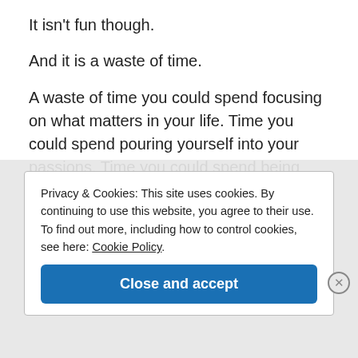It isn't fun though.
And it is a waste of time.
A waste of time you could spend focusing on what matters in your life. Time you could spend pouring yourself into your passions. Time you could spend being grateful for what is right in front of you.
Privacy & Cookies: This site uses cookies. By continuing to use this website, you agree to their use.
To find out more, including how to control cookies, see here: Cookie Policy.
Close and accept